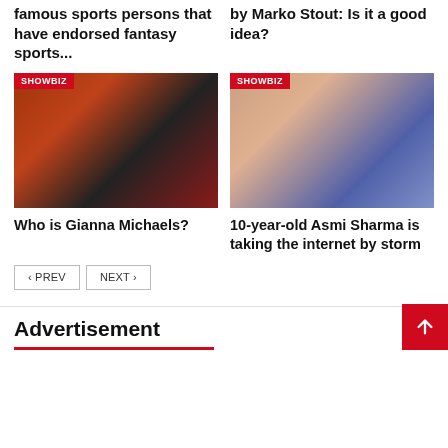famous sports persons that have endorsed fantasy sports...
by Marko Stout: Is it a good idea?
[Figure (photo): Photo of Gianna Michaels with SHOWBIZ badge, women in red outfits at a venue]
Who is Gianna Michaels?
[Figure (photo): Photo of 10-year-old Asmi Sharma with SHOWBIZ badge, young girl smiling]
10-year-old Asmi Sharma is taking the internet by storm
PREV  NEXT
Advertisement